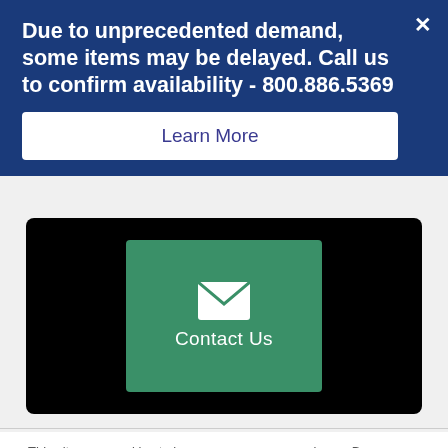Due to unprecedented demand, some items may be delayed. Call us to confirm availability - 800.886.5369
Learn More
[Figure (screenshot): Black panel with a green 'Contact Us' button featuring an envelope icon]
This site uses cookies to improve your user experience. By continuing to use this site you agree to the use of cookies. View our Privacy Policy to learn more.
Accept